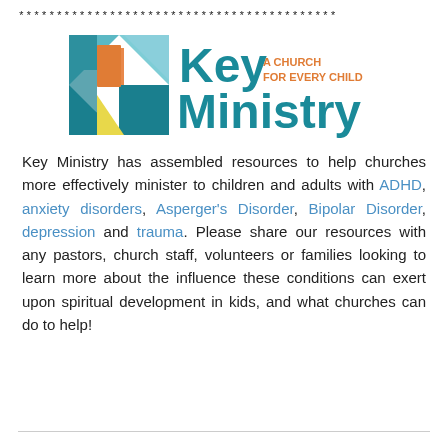******************************************
[Figure (logo): Key Ministry logo: colored square icon with teal, orange, blue, yellow geometric shapes, next to text 'Key Ministry' in teal bold and 'A CHURCH FOR EVERY CHILD' in orange]
Key Ministry has assembled resources to help churches more effectively minister to children and adults with ADHD, anxiety disorders, Asperger's Disorder, Bipolar Disorder, depression and trauma. Please share our resources with any pastors, church staff, volunteers or families looking to learn more about the influence these conditions can exert upon spiritual development in kids, and what churches can do to help!